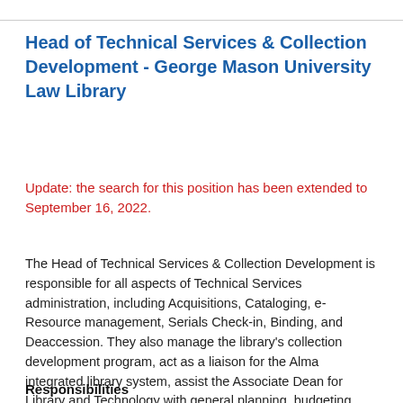Head of Technical Services & Collection Development - George Mason University Law Library
Update: the search for this position has been extended to September 16, 2022.
The Head of Technical Services & Collection Development is responsible for all aspects of Technical Services administration, including Acquisitions, Cataloging, e-Resource management, Serials Check-in, Binding, and Deaccession. They also manage the library's collection development program, act as a liaison for the Alma integrated library system, assist the Associate Dean for Library and Technology with general planning, budgeting, and statistical compilation, and provide liaison services for faculty research.
Responsibilities